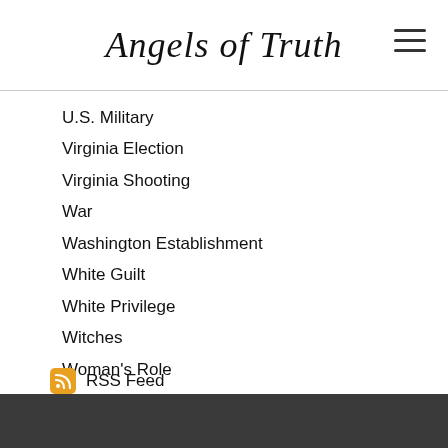Angels of Truth
U.S. Military
Virginia Election
Virginia Shooting
War
Washington Establishment
White Guilt
White Privilege
Witches
Woman's Role
Women
RSS Feed